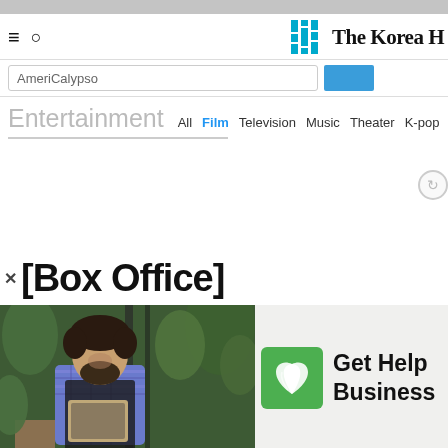The Korea Herald
AmeriCalypso
Entertainment
All Film Television Music Theater K-pop esports
[Box Office]
[Figure (photo): Man with curly hair and beard wearing plaid shirt and dark apron, looking at a tablet in a plant shop with green plants in the background]
Get Help Business